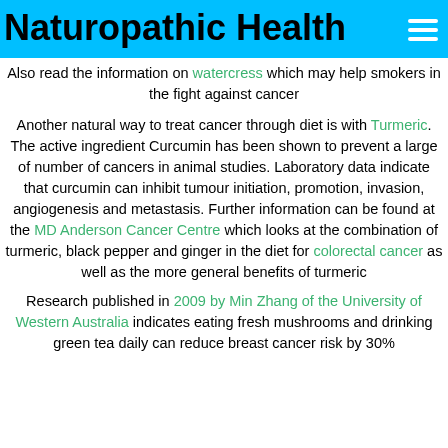Naturopathic Health
Also read the information on watercress which may help smokers in the fight against cancer
Another natural way to treat cancer through diet is with Turmeric. The active ingredient Curcumin has been shown to prevent a large of number of cancers in animal studies. Laboratory data indicate that curcumin can inhibit tumour initiation, promotion, invasion, angiogenesis and metastasis. Further information can be found at the MD Anderson Cancer Centre which looks at the combination of turmeric, black pepper and ginger in the diet for colorectal cancer as well as the more general benefits of turmeric
Research published in 2009 by Min Zhang of the University of Western Australia indicates eating fresh mushrooms and drinking green tea daily can reduce breast cancer risk by 30%